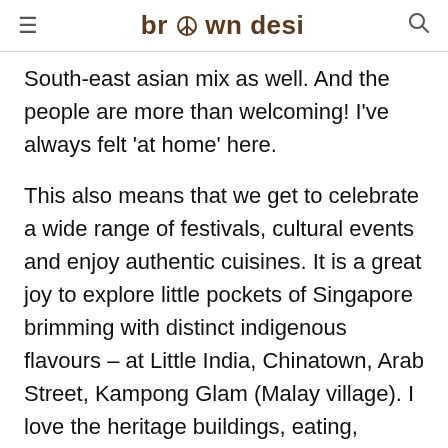brown desi
South-east asian mix as well. And the people are more than welcoming! I've always felt 'at home' here.
This also means that we get to celebrate a wide range of festivals, cultural events and enjoy authentic cuisines. It is a great joy to explore little pockets of Singapore brimming with distinct indigenous flavours – at Little India, Chinatown, Arab Street, Kampong Glam (Malay village). I love the heritage buildings, eating, shopping, visiting the beautiful temples, traditional schools,enjoying traditional massages, cultural events and activities. We